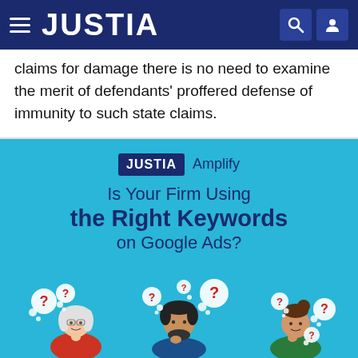JUSTIA
claims for damage there is no need to examine the merit of defendants' proffered defense of immunity to such state claims.
[Figure (infographic): Justia Amplify advertisement banner with cyan background. Shows 'JUSTIA Amplify' logo, headline 'Is Your Firm Using the Right Keywords on Google Ads?', a red 'Let Us Help' button, and an illustration of three people with question mark thought bubbles.]